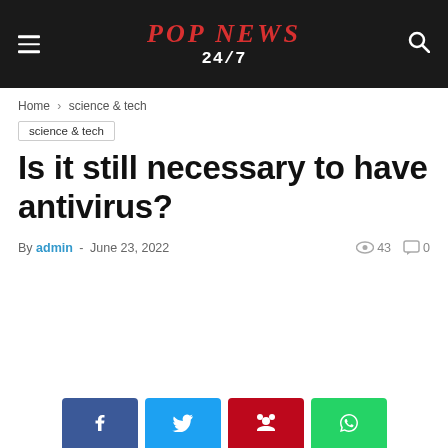POP NEWS 24/7
Home › science & tech
science & tech
Is it still necessary to have antivirus?
By admin - June 23, 2022  👁 43  💬 0
[Figure (other): Social share buttons: Facebook, Twitter, Pinterest, WhatsApp]